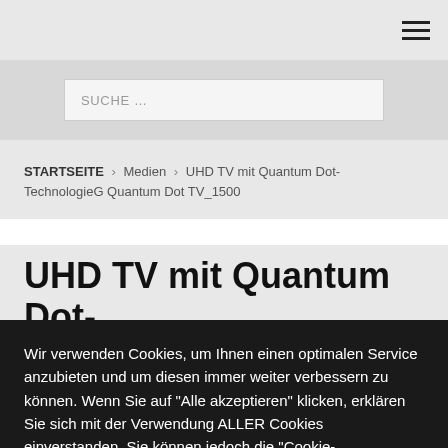≡
SUCHE …
STARTSEITE › Medien › UHD TV mit Quantum Dot-TechnologieG Quantum Dot TV_1500
UHD TV mit Quantum Dot-Technologie G Quantum Dot
Wir verwenden Cookies, um Ihnen einen optimalen Service anzubieten und um diesen immer weiter verbessern zu können. Wenn Sie auf "Alle akzeptieren" klicken, erklären Sie sich mit der Verwendung ALLER Cookies einverstanden. Sie können jedoch die "Cookie-Einstellungen" besuchen, um eine individuelle Zustimmung zu erteilen.
Cookie Settings | Alle akzeptieren